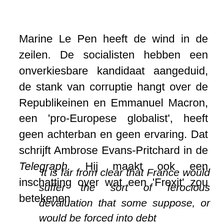Marine Le Pen heeft de wind in de zeilen. De socialisten hebben een onverkiesbare kandidaat aangeduid, de stank van corruptie hangt over de Republikeinen en Emmanuel Macron, een 'pro-Europese globalist', heeft geen achterban en geen ervaring. Dat schrijft Ambrose Evans-Pritchard in de Telegraph. Hij maakt ook een inschatting over wat een 'Frexit' zou betekenen.
'It is far from clear that France would suffer the sort of ferocious devaluation that some suppose, or would be forced into debt